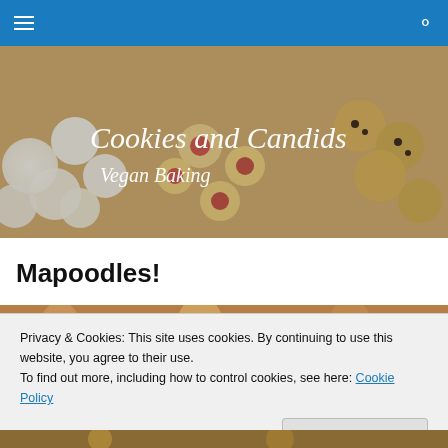Navigation bar with hamburger menu and search icon
[Figure (photo): Banner photo of assorted cookies — powdered sugar round cookies, thumbprint jam cookies, and chocolate chip cookies — with overlay text 'Cookies and Candids Vegan Baking']
Mapoodles!
[Figure (photo): Partial photo strip of baked goods at top of content area]
Privacy & Cookies: This site uses cookies. By continuing to use this website, you agree to their use.
To find out more, including how to control cookies, see here: Cookie Policy
[Figure (photo): Bottom photo strip of cookies/baked goods]